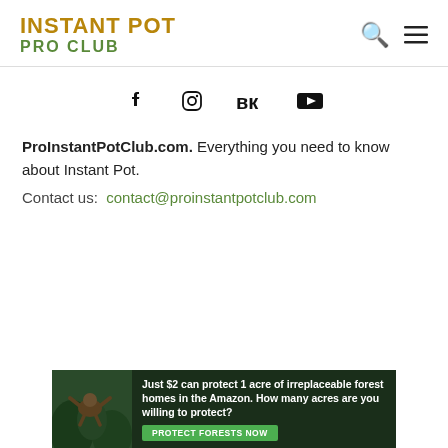INSTANT POT PRO CLUB
[Figure (infographic): Social media icons: Facebook, Instagram, VK, YouTube]
ProInstantPotClub.com. Everything you need to know about Instant Pot.
Contact us: contact@proinstantpotclub.com
[Figure (infographic): Advertisement banner: Just $2 can protect 1 acre of irreplaceable forest homes in the Amazon. How many acres are you willing to protect? PROTECT FORESTS NOW]